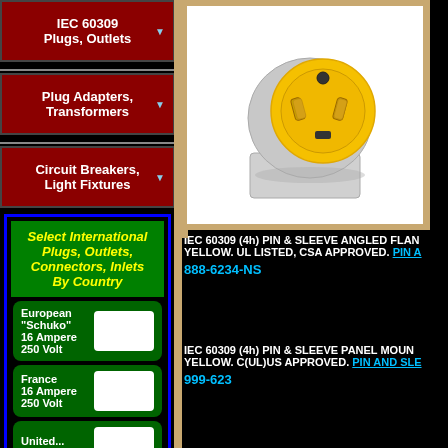IEC 60309 Plugs, Outlets
Plug Adapters, Transformers
Circuit Breakers, Light Fixtures
Select International Plugs, Outlets, Connectors, Inlets By Country
European "Schuko" 16 Ampere 250 Volt
France 16 Ampere 250 Volt
[Figure (photo): IEC 60309 (4h) PIN & SLEEVE ANGLED FLANGE INLET, YELLOW. Yellow plug with angled mounting flange.]
IEC 60309 (4h) PIN & SLEEVE ANGLED FLANGE YELLOW. UL LISTED, CSA APPROVED. PIN A
888-6234-NS
IEC 60309 (4h) PIN & SLEEVE PANEL MOUNT YELLOW. C(UL)US APPROVED. PIN AND SLE
999-623